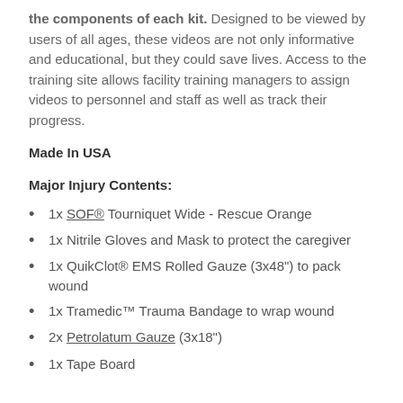the components of each kit. Designed to be viewed by users of all ages, these videos are not only informative and educational, but they could save lives. Access to the training site allows facility training managers to assign videos to personnel and staff as well as track their progress.
Made In USA
Major Injury Contents:
1x SOF® Tourniquet Wide - Rescue Orange
1x Nitrile Gloves and Mask to protect the caregiver
1x QuikClot® EMS Rolled Gauze (3x48") to pack wound
1x Tramedic™ Trauma Bandage to wrap wound
2x Petrolatum Gauze (3x18")
1x Tape Board